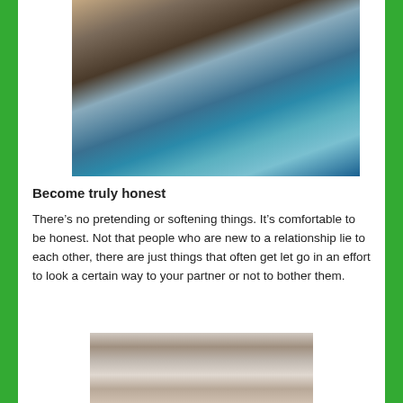[Figure (photo): People dancing at what appears to be a formal event or wedding; a young man in glasses and a teal vest is being hugged by a woman in a teal dress, with other people in the background.]
Become truly honest
There’s no pretending or softening things. It’s comfortable to be honest. Not that people who are new to a relationship lie to each other, there are just things that often get let go in an effort to look a certain way to your partner or not to bother them.
[Figure (photo): A couple posing indoors, smiling at the camera.]